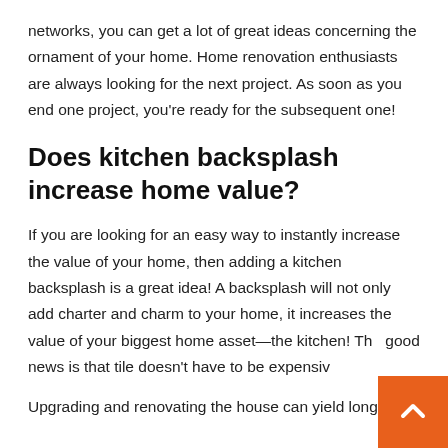networks, you can get a lot of great ideas concerning the ornament of your home. Home renovation enthusiasts are always looking for the next project. As soon as you end one project, you're ready for the subsequent one!
Does kitchen backsplash increase home value?
If you are looking for an easy way to instantly increase the value of your home, then adding a kitchen backsplash is a great idea! A backsplash will not only add charter and charm to your home, it increases the value of your biggest home asset—the kitchen! The good news is that tile doesn't have to be expensive
Upgrading and renovating the house can yield long run